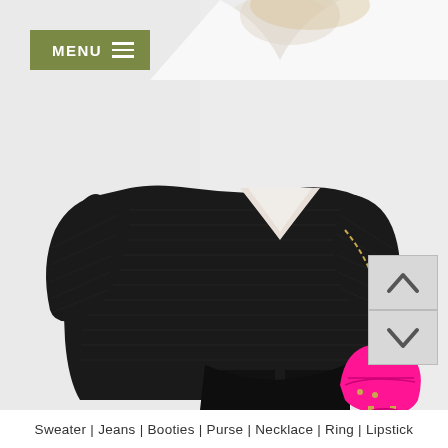[Figure (photo): Fashion photo of a person wearing an oversized black ribbed sweater and black leggings, holding a hot pink/magenta crossbody bag with gold chain strap and tassel. Background is light gray/white. Top portion shows a sheer white top layered underneath. Navigation arrow buttons visible at lower right.]
MENU ☰
Sweater | Jeans | Booties | Purse | Necklace | Ring | Lipstick